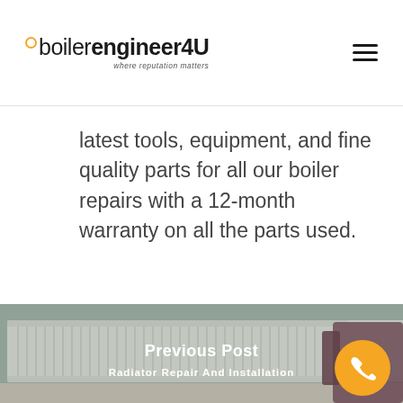boilerengineer4U — where reputation matters
latest tools, equipment, and fine quality parts for all our boiler repairs with a 12-month warranty on all the parts used.
[Figure (photo): Photo of a white panel radiator mounted on a wall in a room, with a purple/maroon patterned armchair visible on the right side. Overlay text reads 'Previous Post' and 'Radiator Repair And Installation'.]
Previous Post
Radiator Repair And Installation